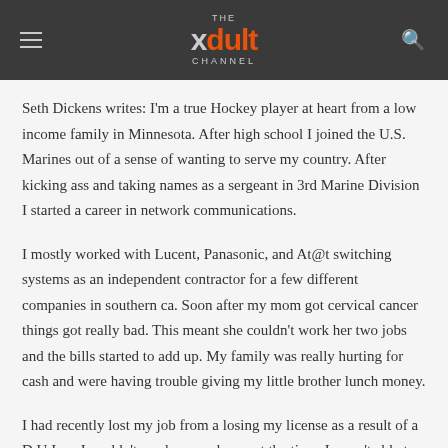THE Xdult CHANNEL
Seth Dickens writes: I'm a true Hockey player at heart from a low income family in Minnesota. After high school I joined the U.S. Marines out of a sense of wanting to serve my country. After kicking ass and taking names as a sergeant in 3rd Marine Division I started a career in network communications.
I mostly worked with Lucent, Panasonic, and At@t switching systems as an independent contractor for a few different companies in southern ca. Soon after my mom got cervical cancer things got really bad. This meant she couldn't work her two jobs and the bills started to add up. My family was really hurting for cash and were having trouble giving my little brother lunch money.
I had recently lost my job from a losing my license as a result of a D.U.I. so I couldn't send money home at the time. I wasn't able to get hired as switch installer until I got a license back. Without a